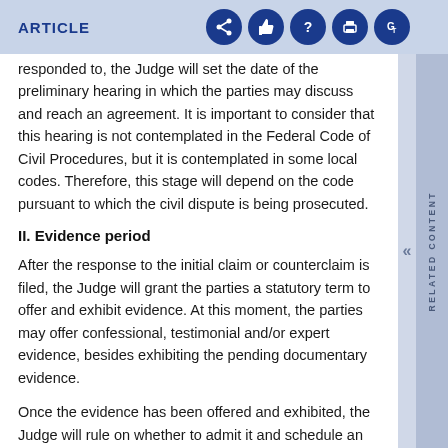ARTICLE
responded to, the Judge will set the date of the preliminary hearing in which the parties may discuss and reach an agreement. It is important to consider that this hearing is not contemplated in the Federal Code of Civil Procedures, but it is contemplated in some local codes. Therefore, this stage will depend on the code pursuant to which the civil dispute is being prosecuted.
II. Evidence period
After the response to the initial claim or counterclaim is filed, the Judge will grant the parties a statutory term to offer and exhibit evidence. At this moment, the parties may offer confessional, testimonial and/or expert evidence, besides exhibiting the pending documentary evidence.
Once the evidence has been offered and exhibited, the Judge will rule on whether to admit it and schedule an evidence hearing in which all admitted evidence will be